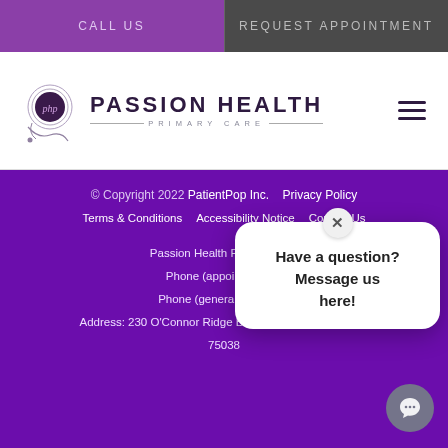CALL US | REQUEST APPOINTMENT
[Figure (logo): Passion Health Primary Care logo with circular emblem and text]
© Copyright 2022 PatientPop Inc.    Privacy Policy
Terms & Conditions    Accessibility Notice    Contact Us
Passion Health Prim...
Phone (appointment...)
Phone (general inqu...)
Address: 230 O'Connor Ridge Blvd, Suite 110, Irving, TX 75038
[Figure (screenshot): Chat popup with close button showing 'Have a question? Message us here!' and chat bubble icon]